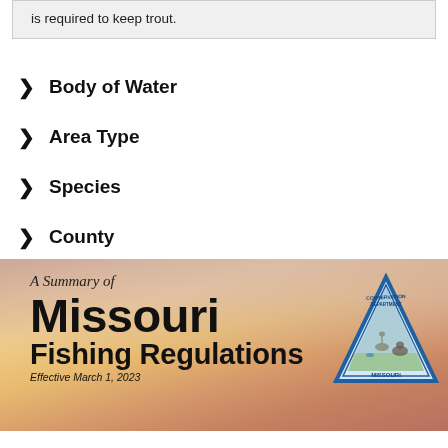is required to keep trout.
Body of Water
Area Type
Species
County
[Figure (illustration): Missouri fishing regulations booklet cover showing 'A Summary of Missouri Fishing Regulations' text on a sunset background with Missouri Conservation Department triangle logo badge]